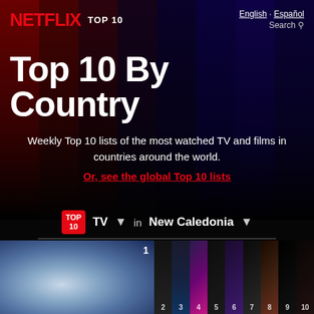NETFLIX TOP 10   English · Español   Search
Top 10 By Country
Weekly Top 10 lists of the most watched TV and films in countries around the world.
Or, see the global Top 10 lists
TOP 10  TV ▾  in  New Caledonia ▾
Some territories are included in the countries list for convenience.
[Figure (screenshot): Row of show thumbnail images numbered 1 through 10. The first (largest) thumbnail shows a face with blue-tinted lighting. Thumbnails 2–10 are smaller and show various colored scenes.]